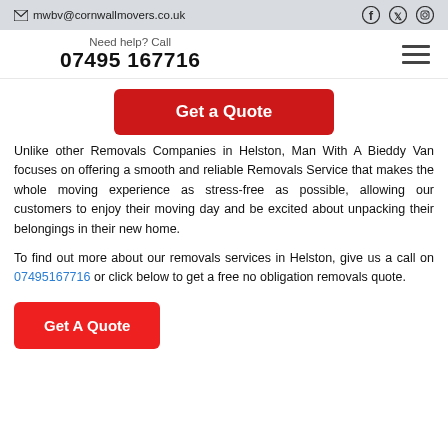✉ mwbv@cornwallmovers.co.uk
Need help? Call
07495 167716
Get a Quote
Unlike other Removals Companies in Helston, Man With A Bieddy Van focuses on offering a smooth and reliable Removals Service that makes the whole moving experience as stress-free as possible, allowing our customers to enjoy their moving day and be excited about unpacking their belongings in their new home.
To find out more about our removals services in Helston, give us a call on 07495167716 or click below to get a free no obligation removals quote.
Get A Quote